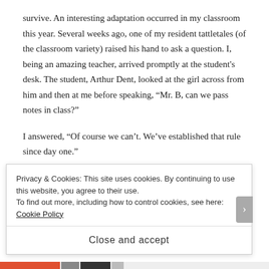survive. An interesting adaptation occurred in my classroom this year. Several weeks ago, one of my resident tattletales (of the classroom variety) raised his hand to ask a question. I, being an amazing teacher, arrived promptly at the student's desk. The student, Arthur Dent, looked at the girl across from him and then at me before speaking, “Mr. B, can we pass notes in class?”
I answered, “Of course we can’t. We’ve established that rule since day one.”
The student smiled and looked sneeringly at the girl across from him. He continued to speak, “Oh I was just wondering cause Trillian here was passing a note to her friend. So I guess since you said we can’t do it, she
Privacy & Cookies: This site uses cookies. By continuing to use this website, you agree to their use.
To find out more, including how to control cookies, see here: Cookie Policy
Close and accept